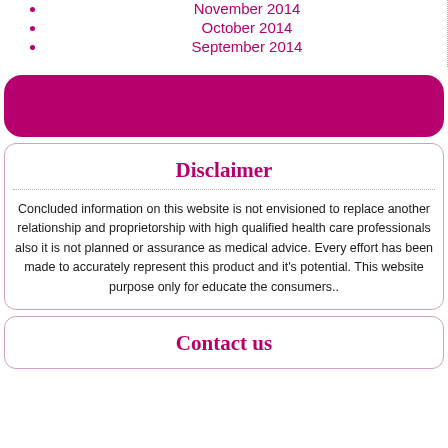November 2014
October 2014
September 2014
[Figure (other): Purple rounded rectangle bar/banner]
Disclaimer
Concluded information on this website is not envisioned to replace another relationship and proprietorship with high qualified health care professionals also it is not planned or assurance as medical advice. Every effort has been made to accurately represent this product and it's potential. This website purpose only for educate the consumers..
Contact us